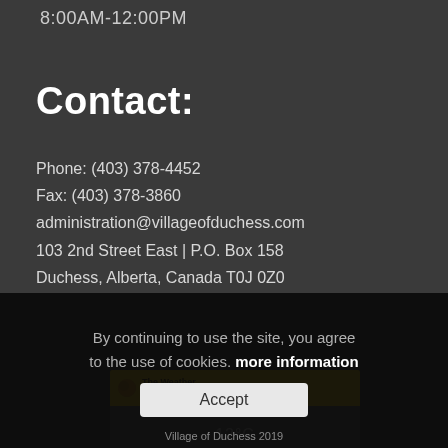8:00AM-12:00PM
Contact:
Phone: (403) 378-4452
Fax: (403) 378-3860
administration@villageofduchess.com
103 2nd Street East | P.O. Box 158
Duchess, Alberta, Canada T0J 0Z0
[Figure (screenshot): The Weather Network widget showing header bar with logo and yellow background, and weather display showing 12°C]
By continuing to use the site, you agree to the use of cookies. more information
Accept
Village of Duchess 2019